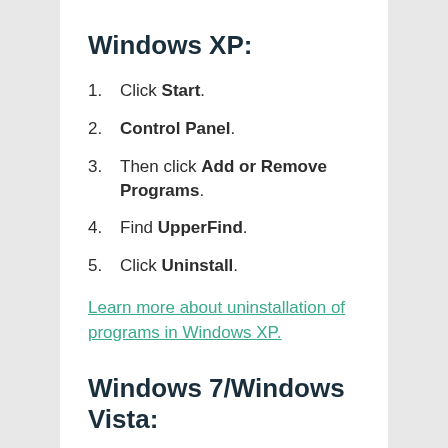Windows XP:
Click Start.
Control Panel.
Then click Add or Remove Programs.
Find UpperFind.
Click Uninstall.
Learn more about uninstallation of programs in Windows XP.
Windows 7/Windows Vista:
Click Start.